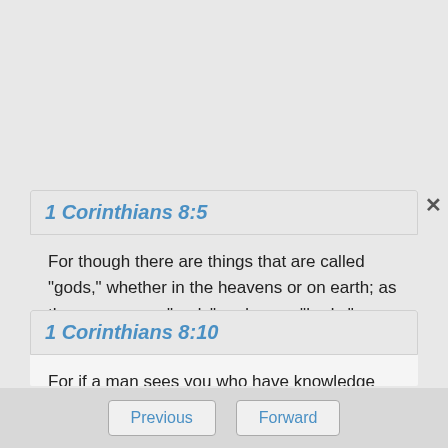1 Corinthians 8:5
For though there are things that are called "gods," whether in the heavens or on earth; as there are many "gods" and many "lords;"
1 Corinthians 8:10
For if a man sees you who have knowledge sitting in an idol's temple, won't his conscience, if he is weak, be emboldened to eat things sacrificed to idols?
Previous   Forward